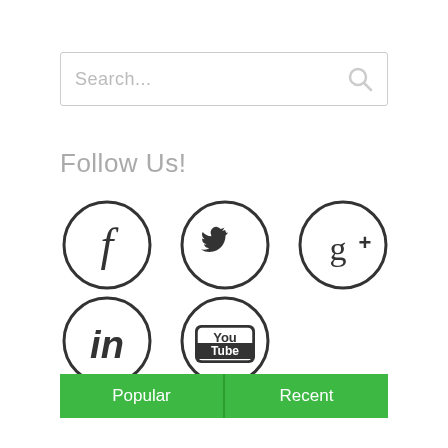[Figure (screenshot): Search input box with placeholder text 'Search...' and a search icon on the right]
Follow Us!
[Figure (infographic): Five social media icons in circles: Facebook (f), Twitter (bird), Google+ (g+), LinkedIn (in), YouTube (You Tube)]
[Figure (other): Two green tab buttons: 'Popular' on the left and 'Recent' on the right]